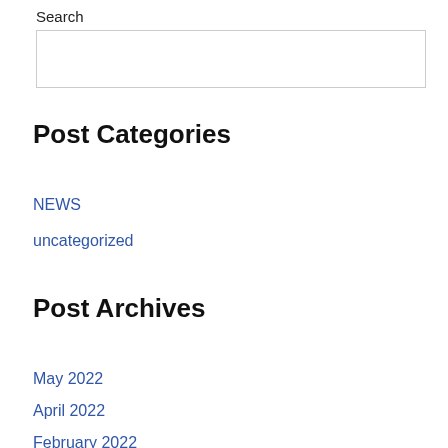Search
Post Categories
NEWS
uncategorized
Post Archives
May 2022
April 2022
February 2022